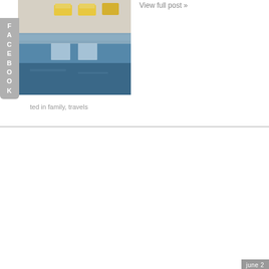View full post »
[Figure (photo): Hotel pool with yellow lounge chairs and reflection in water]
posted in family, travels
june 2
vaca
posted in fam
"mommy, i could live here forever…" –gavin
View full post »
[Figure (photo): Ocean view with blue sky and clouds on the horizon]